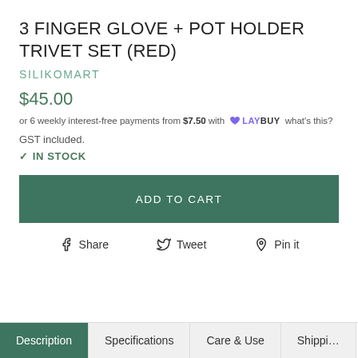3 FINGER GLOVE + POT HOLDER TRIVET SET (RED)
SILIKOMART
$45.00
or 6 weekly interest-free payments from $7.50 with LAYBUY what's this?
GST included.
✓ IN STOCK
ADD TO CART
Share  Tweet  Pin it
Description  Specifications  Care & Use  Shipping